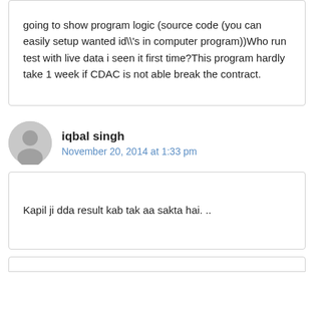going to show program logic (source code (you can easily setup wanted id\'s in computer program))Who run test with live data i seen it first time?This program hardly take 1 week if CDAC is not able break the contract.
iqbal singh
November 20, 2014 at 1:33 pm
Kapil ji dda result kab tak aa sakta hai. ..